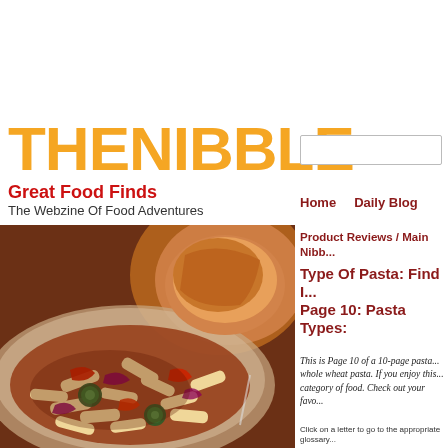[Figure (logo): THE NIBBLE logo in large orange bold text with taglines below]
Great Food Finds
The Webzine Of Food Adventures
[Figure (other): Search input box]
Home      Daily Blog
Product Reviews / Main Nibb...
Type Of Pasta: Find I...
Page 10: Pasta Types:
This is Page 10 of a 10-page pasta... whole wheat pasta. If you enjoy this... category of food. Check out your favo...
Click on a letter to go to the appropriate glossary...
[Figure (photo): A bowl of colorful pasta dish with vegetables including zucchini, red onion, and penne pasta with bread in the background]